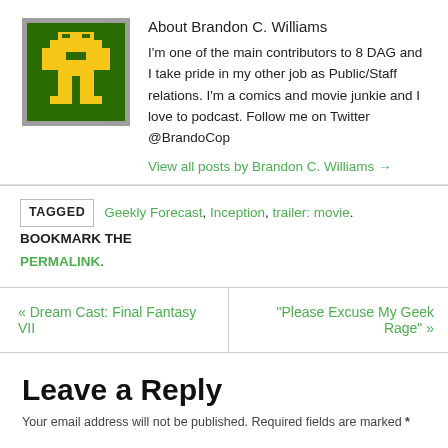[Figure (illustration): Pixel art avatar of a green character on dark green background with grey border]
About Brandon C. Williams
I'm one of the main contributors to 8 DAG and I take pride in my other job as Public/Staff relations. I'm a comics and movie junkie and I love to podcast. Follow me on Twitter @BrandoCop
View all posts by Brandon C. Williams →
TAGGED  Geekly Forecast, Inception, trailer: movie.  BOOKMARK THE PERMALINK.
« Dream Cast: Final Fantasy VII
"Please Excuse My Geek Rage" »
Leave a Reply
Your email address will not be published. Required fields are marked *